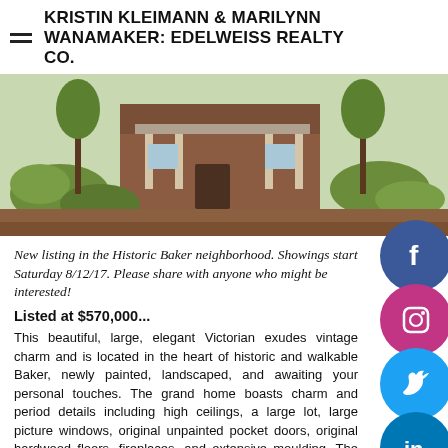KRISTIN KLEIMANN & MARILYNN WANAMAKER: EDELWEISS REALTY CO.
[Figure (photo): Exterior photo of a Victorian home with a landscaped front yard featuring drought-tolerant plants, a stone pathway, and lush greenery.]
New listing in the Historic Baker neighborhood. Showings start Saturday 8/12/17. Please share with anyone who might be interested!
Listed at $570,000...
This beautiful, large, elegant Victorian exudes vintage charm and is located in the heart of historic and walkable Baker, newly painted, landscaped, and awaiting your personal touches. The grand home boasts charm and period details including high ceilings, a large lot, large picture windows, original unpainted pocket doors, original hardwood floors, fireplaces, and extensive moulding. The layout is large and airy, with great indoor and outdoor entertaining spaces.